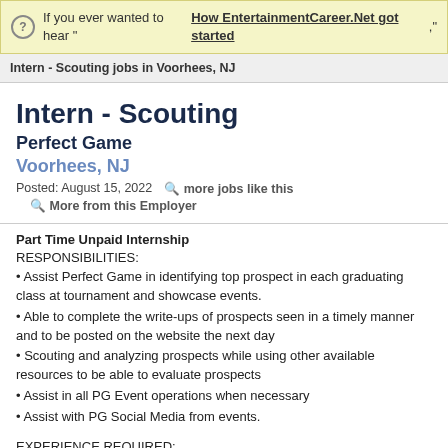If you ever wanted to hear "How EntertainmentCareer.Net got started,"
Intern - Scouting jobs in Voorhees, NJ
Intern - Scouting
Perfect Game
Voorhees, NJ
Posted: August 15, 2022   more jobs like this   More from this Employer
Part Time Unpaid Internship
RESPONSIBILITIES:
• Assist Perfect Game in identifying top prospect in each graduating class at tournament and showcase events.
• Able to complete the write-ups of prospects seen in a timely manner and to be posted on the website the next day
• Scouting and analyzing prospects while using other relevant resources to be able to evaluate prospects
• Assist in all PG Event operations when necessary
• Assist with PG Social Media from events.
EXPERIENCE REQUIRED: